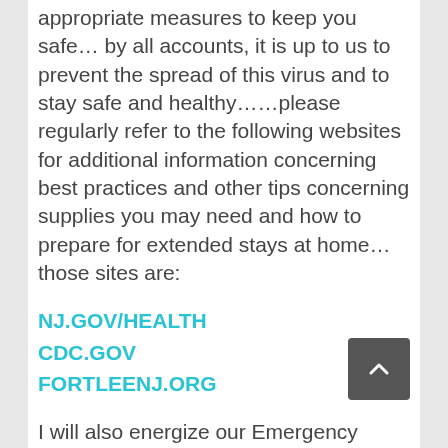appropriate measures to keep you safe… by all accounts, it is up to us to prevent the spread of this virus and to stay safe and healthy……please regularly refer to the following websites for additional information concerning best practices and other tips concerning supplies you may need and how to prepare for extended stays at home… those sites are:
NJ.GOV/HEALTH
CDC.GOV
FORTLEENJ.ORG
I will also energize our Emergency Radio Board for additional...